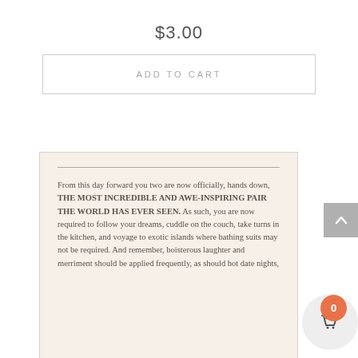$3.00
ADD TO CART
[Figure (illustration): Book page preview on cream/beige background with a thin horizontal rule, showing text: 'From this day forward you two are now officially, hands down, THE MOST INCREDIBLE AND AWE-INSPIRING PAIR THE WORLD HAS EVER SEEN. As such, you are now required to follow your dreams, cuddle on the couch, take turns in the kitchen, and voyage to exotic islands where bathing suits may not be required. And remember, boisterous laughter and merriment should be applied frequently, as should hot date nights.']